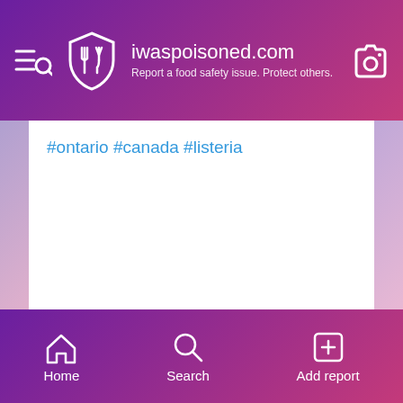iwaspoisoned.com — Report a food safety issue. Protect others.
#ontario #canada #listeria
Home  Search  Add report